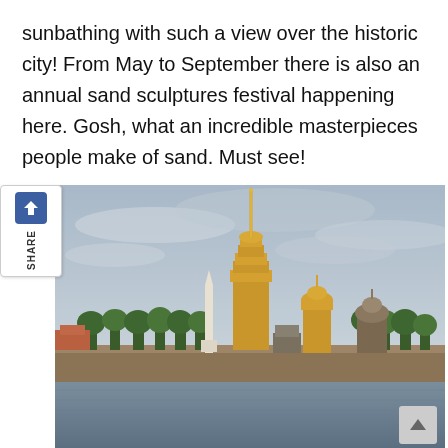sunbathing with such a view over the historic city! From May to September there is also an annual sand sculptures festival happening here. Gosh, what an incredible masterpieces people make of sand. Must see!
[Figure (photo): View of the Peter and Paul Fortress in Saint Petersburg, Russia, seen from across the Neva River. The golden spire of the Peter and Paul Cathedral dominates the skyline, with additional golden domes visible. The fortress wall runs along the waterfront. Overcast sky in the background.]